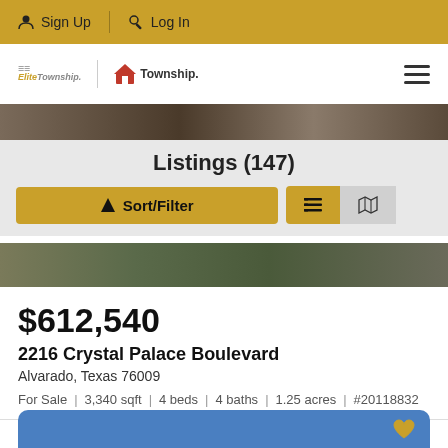Sign Up | Log In
[Figure (logo): Elite Township and Township real estate logos with hamburger menu]
[Figure (photo): Property photo strip at top of listing]
Listings (147)
Sort/Filter | List view | Map view buttons
[Figure (photo): Property photo strip below filter bar]
$612,540
2216 Crystal Palace Boulevard
Alvarado, Texas 76009
For Sale | 3,340 sqft | 4 beds | 4 baths | 1.25 acres | #20118832
[Figure (screenshot): Blue card section at bottom]